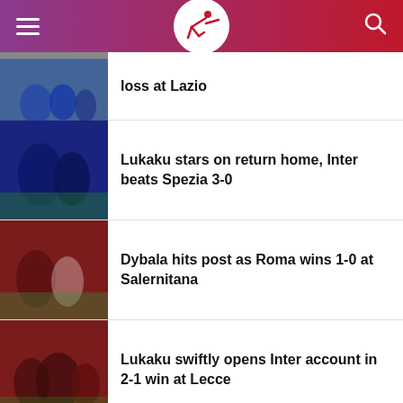Sports news app header with logo, hamburger menu, and search icon
loss at Lazio
Lukaku stars on return home, Inter beats Spezia 3-0
Dybala hits post as Roma wins 1-0 at Salernitana
Lukaku swiftly opens Inter account in 2-1 win at Lecce
Lukaku completes return to Inter on